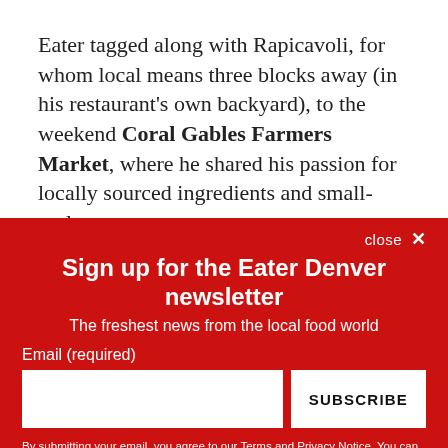Eater tagged along with Rapicavoli, for whom local means three blocks away (in his restaurant's own backyard), to the weekend Coral Gables Farmers Market, where he shared his passion for locally sourced ingredients and small-scale
close ✕
Sign up for the Eater Denver newsletter
The freshest news from the local food world
Email (required)
SUBSCRIBE
By submitting your email, you agree to our Terms and Privacy Notice. You can opt out at any time. This site is protected by reCAPTCHA and the Google Privacy Policy and Terms of Service apply.